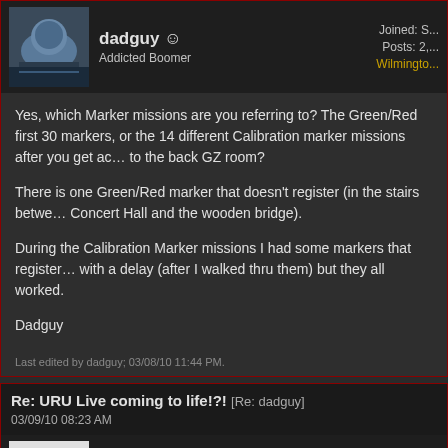dadguy | Addicted Boomer | Joined: S... | Posts: 2,... | Wilmington...
Yes, which Marker missions are you referring to? The Green/Red first 30 markers, or the 14 different Calibration marker missions after you get access to the back GZ room?

There is one Green/Red marker that doesn't register (in the stairs between Concert Hall and the wooden bridge).

During the Calibration Marker missions I had some markers that registered with a delay (after I walked thru them) but they all worked.

Dadguy
Last edited by dadguy; 03/08/10 11:44 PM.
Re: URU Live coming to life!?! [Re: dadguy] 03/09/10 08:23 AM
KateVa | OP | Settled Boomer | Joined: D... | Posts: 61 | Virginia
A footnote for the Calibration (white) markers: